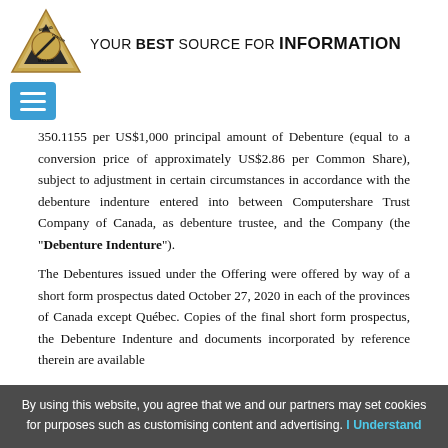[Figure (logo): Mining Center Mexico triangular gold logo with pickaxe icon]
YOUR BEST SOURCE FOR INFORMATION
350.1155 per US$1,000 principal amount of Debenture (equal to a conversion price of approximately US$2.86 per Common Share), subject to adjustment in certain circumstances in accordance with the debenture indenture entered into between Computershare Trust Company of Canada, as debenture trustee, and the Company (the “Debenture Indenture”).
The Debentures issued under the Offering were offered by way of a short form prospectus dated October 27, 2020 in each of the provinces of Canada except Québec. Copies of the final short form prospectus, the Debenture Indenture and documents incorporated by reference therein are available
By using this website, you agree that we and our partners may set cookies for purposes such as customising content and advertising. I Understand